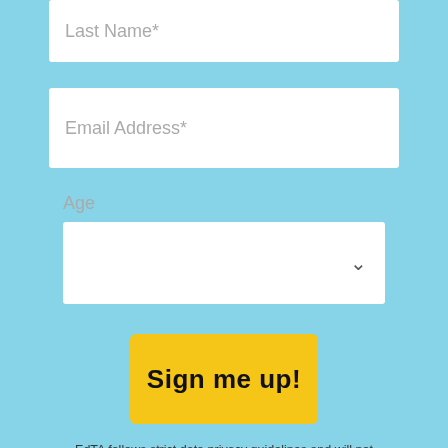Last Name*
Email Address*
Age
Sign me up!
EdTA follows strict data privacy guidelines and will not accept data from someone younger than 13. By clicking Submit Information, you agree to give your info to the Educational Theatre Association to use according to our privacy policy.